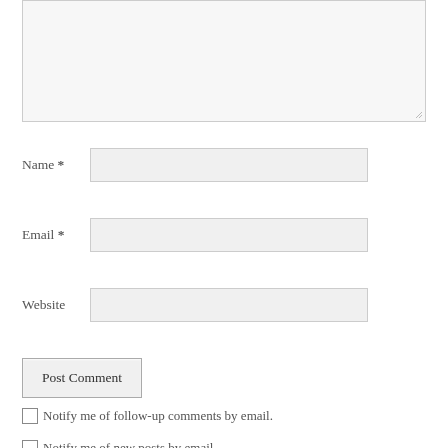[Figure (screenshot): A textarea form field (large empty text input box) with a resize handle at the bottom-right corner, and a light gray background.]
Name *
[Figure (screenshot): Name input text field (empty, light gray background with border)]
Email *
[Figure (screenshot): Email input text field (empty, light gray background with border)]
Website
[Figure (screenshot): Website input text field (empty, light gray background with border)]
Post Comment
Notify me of follow-up comments by email.
Notify me of new posts by email.